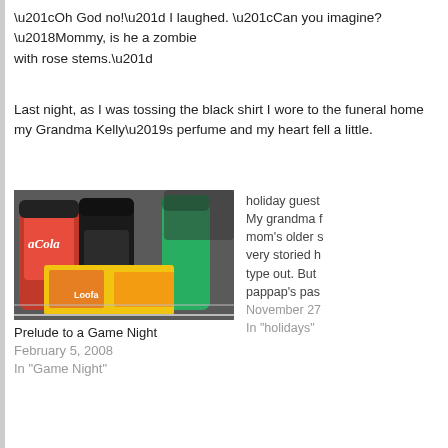“Oh God no!” I laughed. “Can you imagine? ‘Mommy, is he a zombie with rose stems.”
Last night, as I was tossing the black shirt I wore to the funeral home my Grandma Kelly’s perfume and my heart fell a little.
[Figure (photo): Photo of Coca-Cola bottles and yellow Loofa/game boxes in a shopping cart or bin]
Prelude to a Game Night
February 5, 2008
In "Game Night"
holiday guest My grandma f mom’s older s very storied h type out. But pappap’s pas November 27 In “holidays”